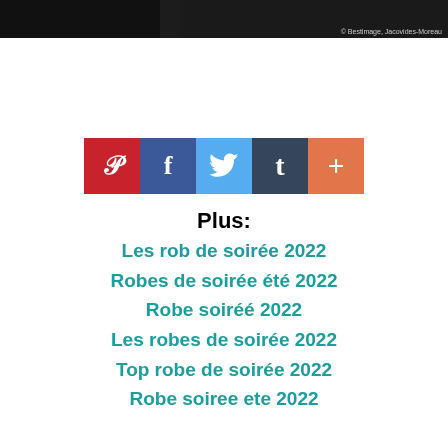[Figure (photo): Dark photo strip at the top of the page, showing a partial image with a photo credit reading '© Bestimage, Jacovides-Moreau' in the bottom right corner.]
[Figure (infographic): Row of social media sharing buttons: Pinterest (red, P icon), Facebook (blue, f icon), Twitter (light blue, bird icon), Tumblr (dark blue, t icon), and a plus/share button (orange, + icon).]
Plus:
Les rob de soirée 2022
Robes de soirée été 2022
Robe soiréé 2022
Les robes de soirée 2022
Top robe de soirée 2022
Robe soiree ete 2022